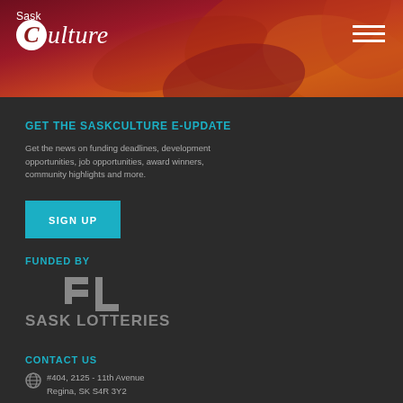[Figure (logo): SaskCulture logo with white circular C and italic text on abstract red/orange background header]
GET THE SASKCULTURE E-UPDATE
Get the news on funding deadlines, development opportunities, job opportunities, award winners, community highlights and more.
SIGN UP
FUNDED BY
[Figure (logo): Sask Lotteries logo — stylized SL icon in grey with text SASK LOTTERIES below]
CONTACT US
#404, 2125 - 11th Avenue
Regina, SK S4R 3Y2